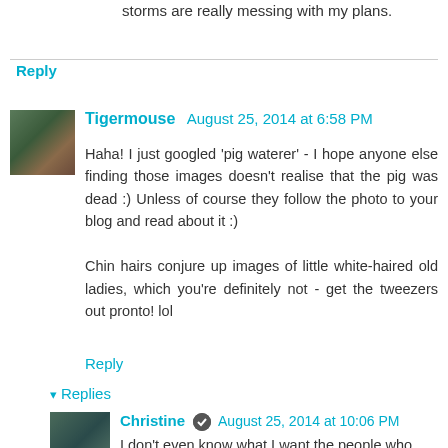storms are really messing with my plans.
Reply
Tigermouse August 25, 2014 at 6:58 PM
Haha! I just googled 'pig waterer' - I hope anyone else finding those images doesn't realise that the pig was dead :) Unless of course they follow the photo to your blog and read about it :)

Chin hairs conjure up images of little white-haired old ladies, which you're definitely not - get the tweezers out pronto! lol
Reply
Replies
Christine August 25, 2014 at 10:06 PM
I don't even know what I want the people who